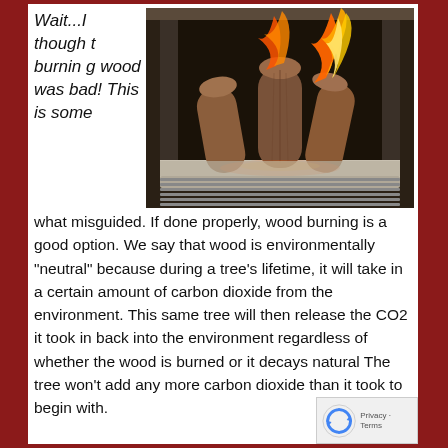Wait...I thought burning wood was bad! This is somewhat misguided. If done properly, wood burning is a good option. We say that wood is environmentally "neutral" because during a tree's lifetime, it will take in a certain amount of carbon dioxide from the environment. This same tree will then release the CO2 it took in back into the environment regardless of whether the wood is burned or it decays naturally. The tree won't add any more carbon dioxide than it took to begin with.
[Figure (photo): A fireplace with logs burning with orange and yellow flames against a dark background, with ash on the hearth floor.]